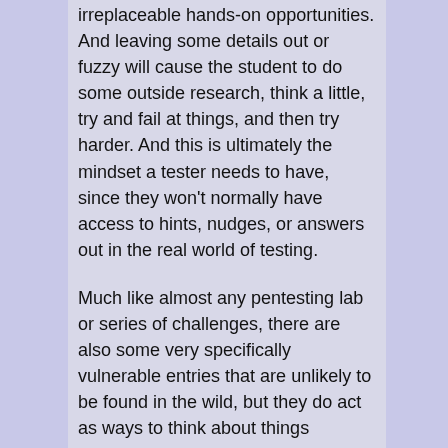irreplaceable hands-on opportunities. And leaving some details out or fuzzy will cause the student to do some outside research, think a little, try and fail at things, and then try harder. And this is ultimately the mindset a tester needs to have, since they won't normally have access to hints, nudges, or answers out in the real world of testing.
Much like almost any pentesting lab or series of challenges, there are also some very specifically vulnerable entries that are unlikely to be found in the wild, but they do act as ways to think about things differently, or open creative avenues that may be useful in the future, even if today that particular vulnerability is solved or just so derived that it's not realistic.
My scripting skills have markedly improved in Python and Ruby during this course. Coming into this, I was passable with Python and had 0 experience with Ruby beyond maybe running an exploit of EDB or something. But, during this course I've had the chance to write more Python and Ruby...